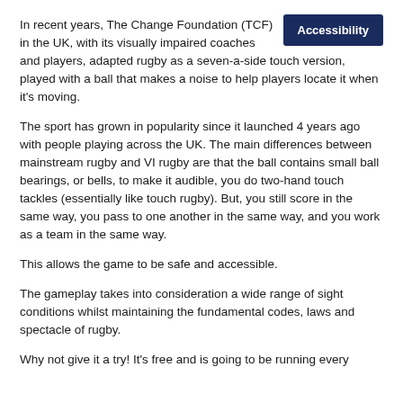In recent years, The Change Foundation (TCF) in the UK, with its visually impaired coaches and players, adapted rugby as a seven-a-side touch version, played with a ball that makes a noise to help players locate it when it's moving.
The sport has grown in popularity since it launched 4 years ago with people playing across the UK. The main differences between mainstream rugby and VI rugby are that the ball contains small ball bearings, or bells, to make it audible, you do two-hand touch tackles (essentially like touch rugby). But, you still score in the same way, you pass to one another in the same way, and you work as a team in the same way.
This allows the game to be safe and accessible.
The gameplay takes into consideration a wide range of sight conditions whilst maintaining the fundamental codes, laws and spectacle of rugby.
Why not give it a try! It's free and is going to be running every